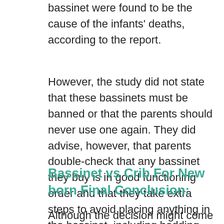bassinet were found to be the cause of the infants' deaths, according to the report.
However, the study did not state that these bassinets must be banned or that the parents should never use one again. They did advise, however, that parents double-check that any bassinet they buy is in good functioning order and that they take extra steps to avoid placing anything in the bassinet, including bedding.
Bassinet vs Crib For New born Final Conclusion:
Although the decision might come across